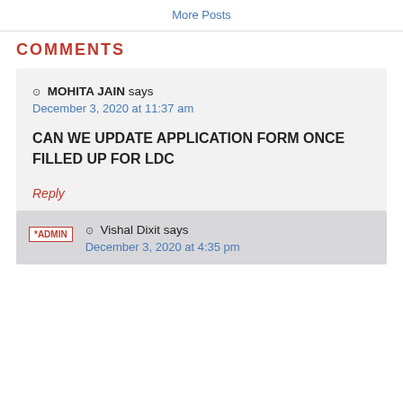More Posts
COMMENTS
⊙ MOHITA JAIN says
December 3, 2020 at 11:37 am

CAN WE UPDATE APPLICATION FORM ONCE FILLED UP FOR LDC
Reply
ADMIN
⊙ Vishal Dixit says
December 3, 2020 at 4:35 pm